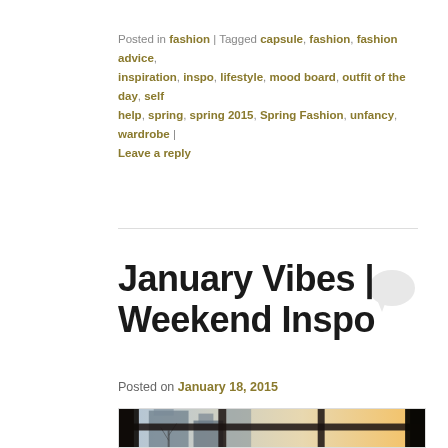Posted in fashion | Tagged capsule, fashion, fashion advice, inspiration, inspo, lifestyle, mood board, outfit of the day, self help, spring, spring 2015, Spring Fashion, unfancy, wardrobe | Leave a reply
January Vibes | Weekend Inspo
Posted on January 18, 2015
[Figure (photo): View from inside a cozy room looking out through a large multi-pane window at a winter cityscape with buildings and bare trees, warm light coming from outside, dark curtains framing the sides, bedding visible in the foreground]